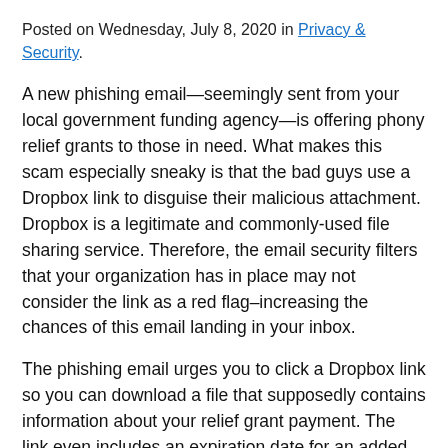Posted on Wednesday, July 8, 2020 in Privacy & Security.
A new phishing email—seemingly sent from your local government funding agency—is offering phony relief grants to those in need. What makes this scam especially sneaky is that the bad guys use a Dropbox link to disguise their malicious attachment. Dropbox is a legitimate and commonly-used file sharing service. Therefore, the email security filters that your organization has in place may not consider the link as a red flag–increasing the chances of this email landing in your inbox.
The phishing email urges you to click a Dropbox link so you can download a file that supposedly contains information about your relief grant payment. The link even includes an expiration date for an added sense of urgency. If you click the link, then, download and open the phony file, you're taken to a look-a-like Microsoft 365 login page. If you enter any information on this page it will be sent directly to the